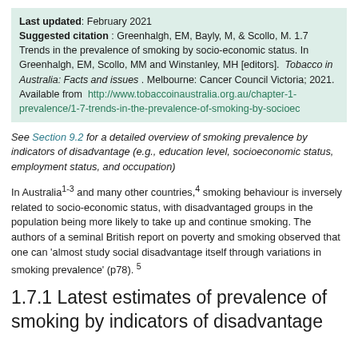Last updated: February 2021
Suggested citation : Greenhalgh, EM, Bayly, M, & Scollo, M. 1.7 Trends in the prevalence of smoking by socio-economic status. In Greenhalgh, EM, Scollo, MM and Winstanley, MH [editors]. Tobacco in Australia: Facts and issues . Melbourne: Cancer Council Victoria; 2021. Available from http://www.tobaccoinaustralia.org.au/chapter-1-prevalence/1-7-trends-in-the-prevalence-of-smoking-by-socioec
See Section 9.2 for a detailed overview of smoking prevalence by indicators of disadvantage (e.g., education level, socioeconomic status, employment status, and occupation)
In Australia1-3 and many other countries,4 smoking behaviour is inversely related to socio-economic status, with disadvantaged groups in the population being more likely to take up and continue smoking. The authors of a seminal British report on poverty and smoking observed that one can 'almost study social disadvantage itself through variations in smoking prevalence' (p78). 5
1.7.1 Latest estimates of prevalence of smoking by indicators of disadvantage